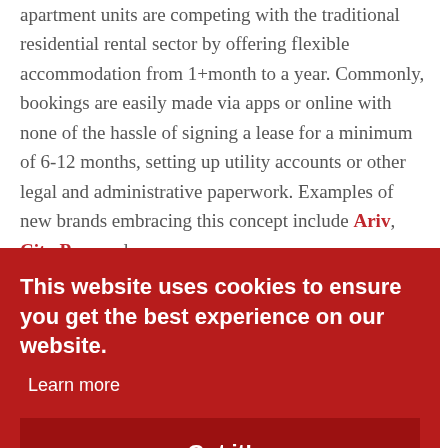apartment units are competing with the traditional residential rental sector by offering flexible accommodation from 1+month to a year. Commonly, bookings are easily made via apps or online with none of the hassle of signing a lease for a minimum of 6-12 months, setting up utility accounts or other legal and administrative paperwork. Examples of new brands embracing this concept include Ariv, City Pop, and
This website uses cookies to ensure you get the best experience on our website. Learn more Got it!
is launching its lyf co-living brand with the